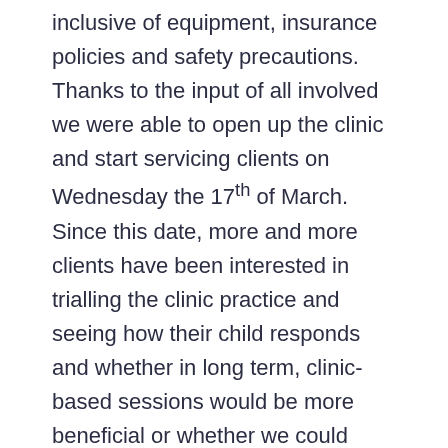inclusive of equipment, insurance policies and safety precautions. Thanks to the input of all involved we were able to open up the clinic and start servicing clients on Wednesday the 17th of March. Since this date, more and more clients have been interested in trialling the clinic practice and seeing how their child responds and whether in long term, clinic-based sessions would be more beneficial or whether we could rotate between both community service and in-clinic service.
The first day ran smoothly with the support of customer service assisting clients with direction up to the clinic space. On the first open day, we serviced 4 clients who from observations in session benefitted immensely from the clinic space secondary to those